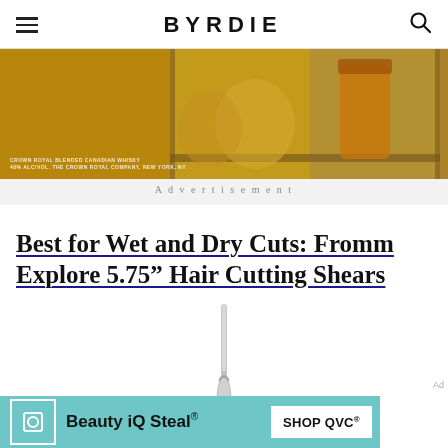BYRDIE
[Figure (photo): Crown Royal Canadian Whisky advertisement showing whisky bottles and glasses on a wooden tray]
Advertisement
Best for Wet and Dry Cuts: Fromm Explore 5.75” Hair Cutting Shears
[Figure (photo): Fromm Explore 5.75 inch hair cutting shears on white background]
[Figure (other): Beauty iQ Steal advertisement - SHOP QVC]